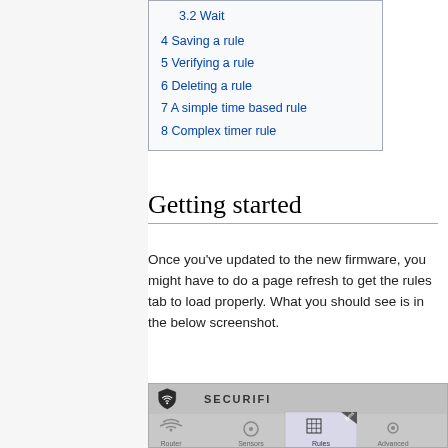3.2 Wait
4 Saving a rule
5 Verifying a rule
6 Deleting a rule
7 A simple time based rule
8 Complex timer rule
Getting started
Once you've updated to the new firmware, you might have to do a page refresh to get the rules tab to load properly. What you should see is in the below screenshot.
[Figure (screenshot): Screenshot of the Securifi router admin interface showing the navigation bar with Router, Sensors, Rules (active/selected with Beta tag), and Advanced tabs.]